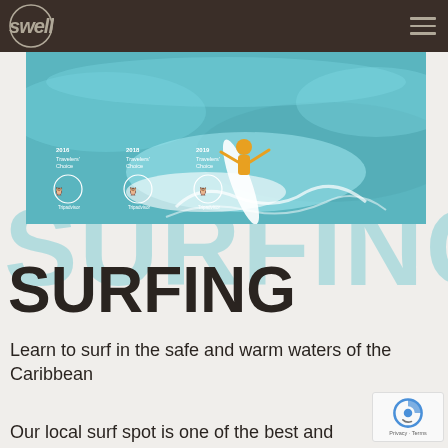[Figure (screenshot): Website screenshot of 'Swell' surf school with navigation bar, hero surfing photo, TripAdvisor badges (2016, 2018, 2019 Travelers' Choice), large watermark 'SURFING' text in light teal, bold black 'SURFING' heading, and body text about learning to surf in the Caribbean]
SURFING
Learn to surf in the safe and warm waters of the Caribbean
Our local surf spot is one of the best and